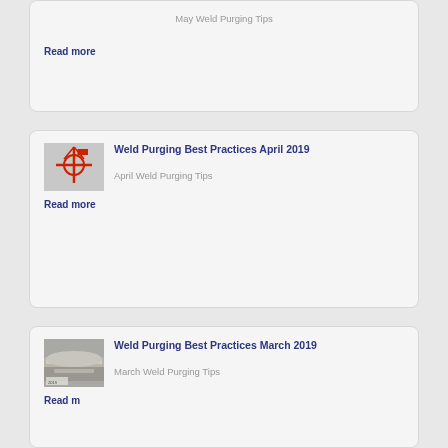May Weld Purging Tips
Read more
[Figure (photo): Red mechanical equipment/tool on grey background, resembling a welding fixture with circular frame]
Weld Purging Best Practices April 2019
April Weld Purging Tips
Read more
[Figure (photo): Close-up of metallic pipe or welding equipment in grey tones]
Weld Purging Best Practices March 2019
March Weld Purging Tips
Read more